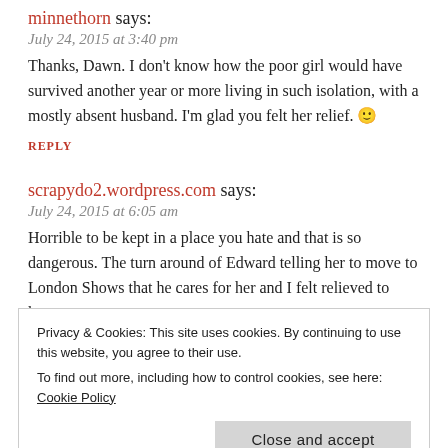minnethorn says:
July 24, 2015 at 3:40 pm
Thanks, Dawn. I don't know how the poor girl would have survived another year or more living in such isolation, with a mostly absent husband. I'm glad you felt her relief. 🙂
REPLY
scrapydo2.wordpress.com says:
July 24, 2015 at 6:05 am
Horrible to be kept in a place you hate and that is so dangerous. The turn around of Edward telling her to move to London Shows that he cares for her and I felt relieved to know
Privacy & Cookies: This site uses cookies. By continuing to use this website, you agree to their use.
To find out more, including how to control cookies, see here:
Cookie Policy
Close and accept